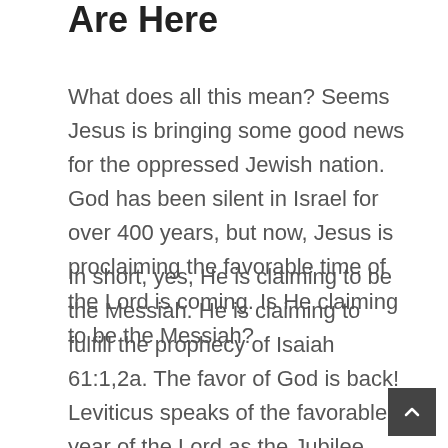Are Here
What does all this mean? Seems Jesus is bringing some good news for the oppressed Jewish nation. God has been silent in Israel for over 400 years, but now, Jesus is proclaiming the favorable time of the Lord is coming. Is He claiming to be the Messiah?
In short, yes, He is claiming to be the Messiah. He is claiming to fulfill the prophecy of Isaiah 61:1,2a. The favor of God is back! Leviticus speaks of the favorable year of the Lord as the Jubilee. This is a year when slaves and